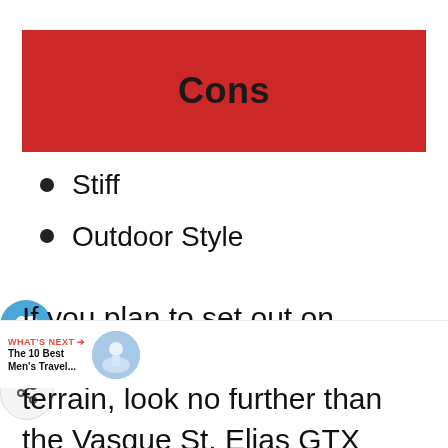Cons
Stiff
Outdoor Style
If you plan to set out on exceptionally rocky and wet terrain, look no further than the Vasque St. Elias GTX Hiking these boots are for environments like the Appalachian Trail. They hold up through mud, rain, rocks, and snow